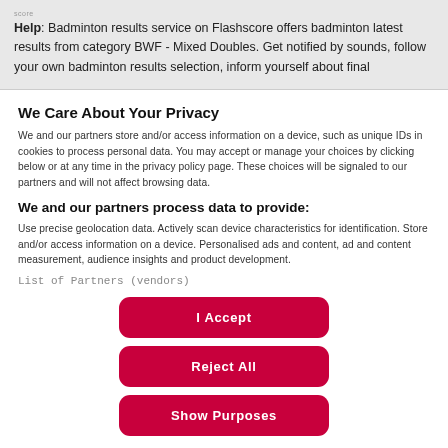Help: Badminton results service on Flashscore offers badminton latest results from category BWF - Mixed Doubles. Get notified by sounds, follow your own badminton results selection, inform yourself about final
We Care About Your Privacy
We and our partners store and/or access information on a device, such as unique IDs in cookies to process personal data. You may accept or manage your choices by clicking below or at any time in the privacy policy page. These choices will be signaled to our partners and will not affect browsing data.
We and our partners process data to provide:
Use precise geolocation data. Actively scan device characteristics for identification. Store and/or access information on a device. Personalised ads and content, ad and content measurement, audience insights and product development.
List of Partners (vendors)
I Accept
Reject All
Show Purposes